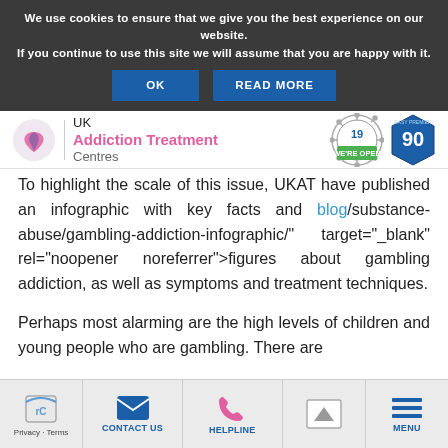We use cookies to ensure that we give you the best experience on our website. If you continue to use this site we will assume that you are happy with it.
OK | READ MORE
UK Addiction Treatment Centres
To highlight the scale of this issue, UKAT have published an infographic with key facts and blog/substance-abuse/gambling-addiction-infographic/" target="_blank" rel="noopener noreferrer">figures about gambling addiction, as well as symptoms and treatment techniques.
Perhaps most alarming are the high levels of children and young people who are gambling. There are
Privacy - Terms | CONTACT US | HELPLINE | MENU